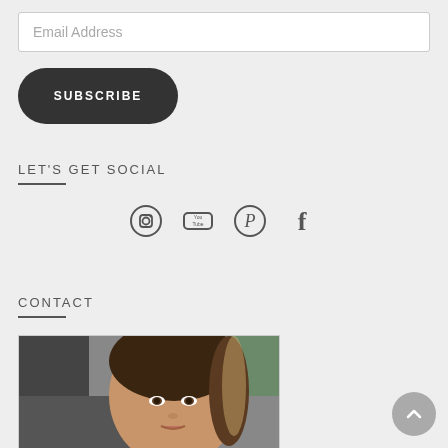Email Address
SUBSCRIBE
LET'S GET SOCIAL
[Figure (infographic): Social media icons: Instagram, YouTube, Pinterest, Facebook]
CONTACT
[Figure (photo): Portrait photo of a woman with dark hair in a car]